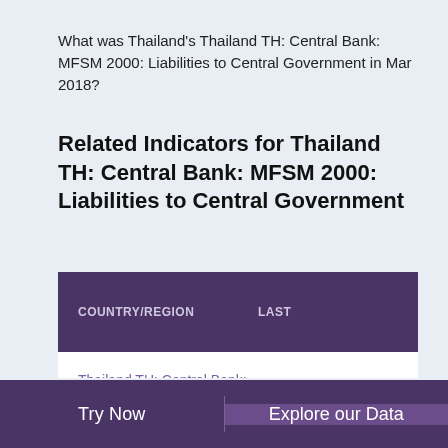What was Thailand's Thailand TH: Central Bank: MFSM 2000: Liabilities to Central Government in Mar 2018?
Related Indicators for Thailand TH: Central Bank: MFSM 2000: Liabilities to Central Government
| COUNTRY/REGION | LAST |
| --- | --- |
| Thailand TH: Central Bank: MFSM 2000: Liabilities to Central Government (THB bn) | ▲ 802.36 Mar 2018 |
| Thailand TH: Central ... |  |
Try Now    Explore our Data